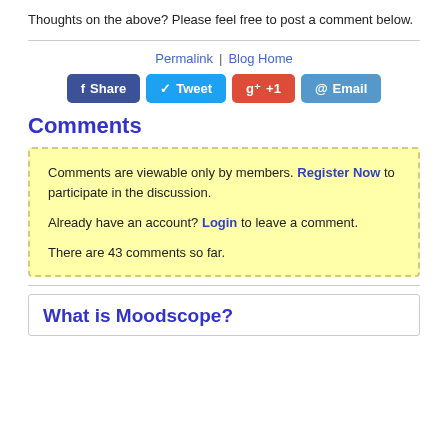Thoughts on the above? Please feel free to post a comment below.
Permalink  |  Blog Home
[Figure (other): Social sharing buttons: Share (Facebook, dark blue), Tweet (Twitter, light blue), +1 (Google+, red), Email (blue)]
Comments
Comments are viewable only by members. Register Now to participate in the discussion.

Already have an account? Login to leave a comment.

There are 43 comments so far.
What is Moodscope?